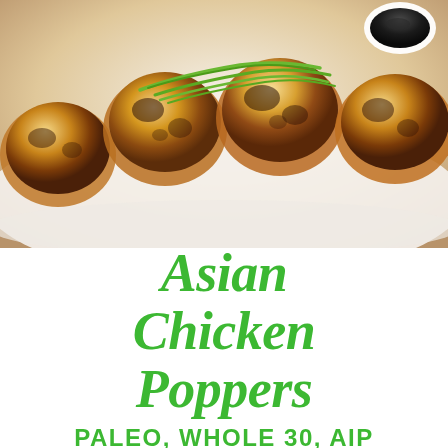[Figure (photo): Close-up photo of golden-brown Asian chicken poppers (meatballs) arranged on a white plate, garnished with sliced green onions. A small bowl of dark dipping sauce is visible in the upper right corner.]
Asian Chicken Poppers
PALEO, WHOLE 30, AIP